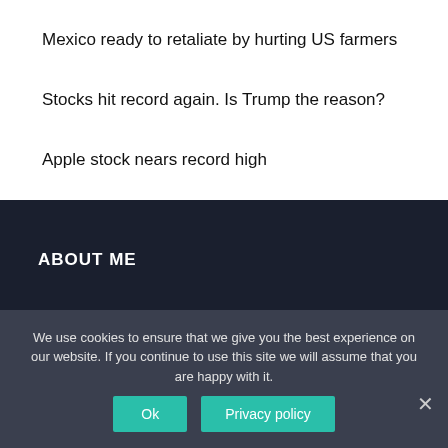Mexico ready to retaliate by hurting US farmers
Stocks hit record again. Is Trump the reason?
Apple stock nears record high
ABOUT ME
I'm Angeline (P.S. my friends call me Angie), a DIY and home interior obsessed US girl. and keen lover of travel. fashion.
We use cookies to ensure that we give you the best experience on our website. If you continue to use this site we will assume that you are happy with it.
Ok
Privacy policy